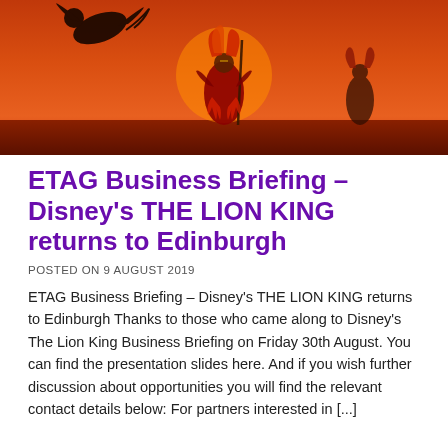[Figure (photo): A Lion King stage performance photo showing a performer in ornate costume against a vivid orange-red sunset sky background, with a silhouette of a leaping animal.]
ETAG Business Briefing – Disney's THE LION KING returns to Edinburgh
POSTED ON 9 AUGUST 2019
ETAG Business Briefing – Disney's THE LION KING returns to Edinburgh Thanks to those who came along to Disney's The Lion King Business Briefing on Friday 30th August. You can find the presentation slides here. And if you wish further discussion about opportunities you will find the relevant contact details below: For partners interested in [...]